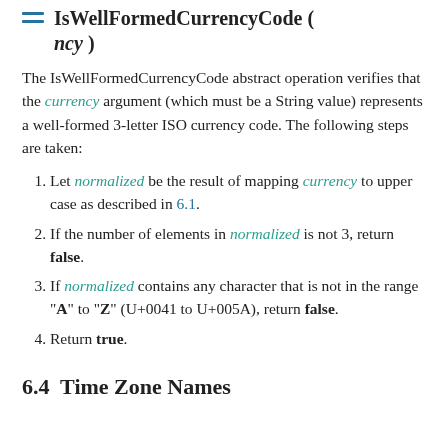IsWellFormedCurrencyCode ( ncy )
The IsWellFormedCurrencyCode abstract operation verifies that the currency argument (which must be a String value) represents a well-formed 3-letter ISO currency code. The following steps are taken:
1. Let normalized be the result of mapping currency to upper case as described in 6.1.
2. If the number of elements in normalized is not 3, return false.
3. If normalized contains any character that is not in the range "A" to "Z" (U+0041 to U+005A), return false.
4. Return true.
6.4  Time Zone Names